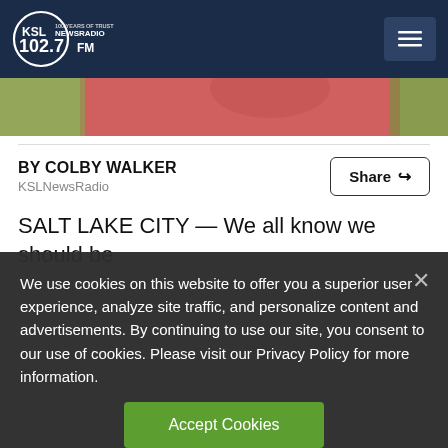KSL NewsRadio 102.7FM
[Figure (photo): Photo of a person in a red/pink top, partially visible, with blurred green background]
BY COLBY WALKER
KSLNewsRadio
Share
SALT LAKE CITY — We all know we should be
We use cookies on this website to offer you a superior user experience, analyze site traffic, and personalize content and advertisements. By continuing to use our site, you consent to our use of cookies. Please visit our Privacy Policy for more information.
Accept Cookies